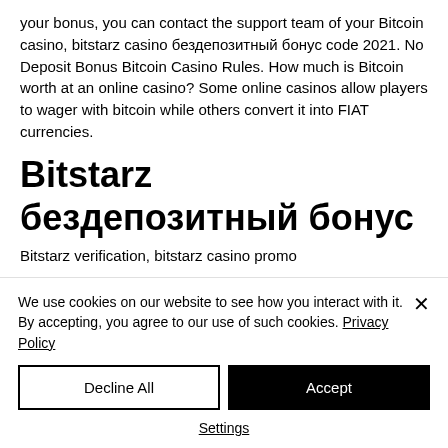your bonus, you can contact the support team of your Bitcoin casino, bitstarz casino бездепозитный бонус code 2021. No Deposit Bonus Bitcoin Casino Rules. How much is Bitcoin worth at an online casino? Some online casinos allow players to wager with bitcoin while others convert it into FIAT currencies.
Bitstarz бездепозитный бонус
Bitstarz verification, bitstarz casino promo
We use cookies on our website to see how you interact with it. By accepting, you agree to our use of such cookies. Privacy Policy
Decline All
Accept
Settings